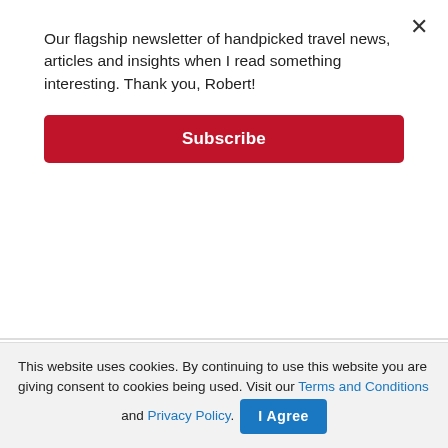Our flagship newsletter of handpicked travel news, articles and insights when I read something interesting. Thank you, Robert!
Subscribe
importance of alliance in tourism; set to activate defense cooperation accords
2 months ago   Reading Time: 2 mins read
This website uses cookies. By continuing to use this website you are giving consent to cookies being used. Visit our Terms and Conditions and Privacy Policy.
I Agree